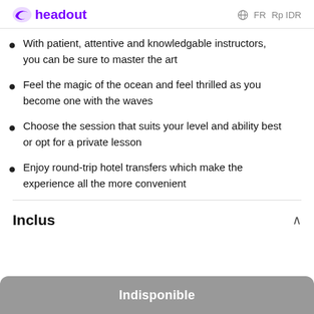headout  FR  Rp IDR
With patient, attentive and knowledgable instructors, you can be sure to master the art
Feel the magic of the ocean and feel thrilled as you become one with the waves
Choose the session that suits your level and ability best or opt for a private lesson
Enjoy round-trip hotel transfers which make the experience all the more convenient
Inclus
Indisponible